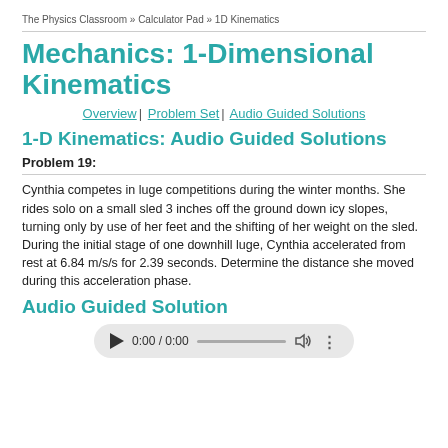The Physics Classroom » Calculator Pad » 1D Kinematics
Mechanics: 1-Dimensional Kinematics
Overview | Problem Set | Audio Guided Solutions
1-D Kinematics: Audio Guided Solutions
Problem 19:
Cynthia competes in luge competitions during the winter months. She rides solo on a small sled 3 inches off the ground down icy slopes, turning only by use of her feet and the shifting of her weight on the sled. During the initial stage of one downhill luge, Cynthia accelerated from rest at 6.84 m/s/s for 2.39 seconds. Determine the distance she moved during this acceleration phase.
Audio Guided Solution
[Figure (other): Audio player control bar showing play button, time display 0:00 / 0:00, progress bar, volume icon, and more options icon]